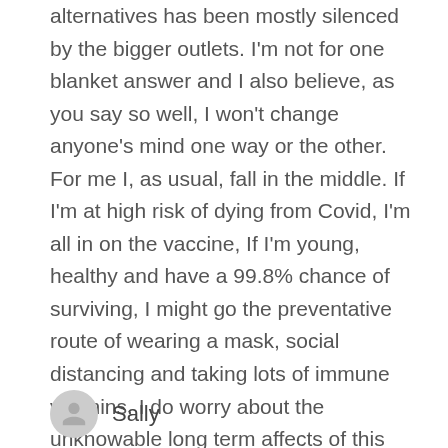alternatives has been mostly silenced by the bigger outlets. I'm not for one blanket answer and I also believe, as you say so well, I won't change anyone's mind one way or the other. For me I, as usual, fall in the middle. If I'm at high risk of dying from Covid, I'm all in on the vaccine, If I'm young, healthy and have a 99.8% chance of surviving, I might go the preventative route of wearing a mask, social distancing and taking lots of immune vitamins. I do worry about the unknowable long term affects of this vaccine on the young and healthy, and I do search until I find evidence to agree with that take even if it's page 12. I know one thing for sure is that all of us want fewer deaths and healthier people and for this damn thing to go away asap.
Sally